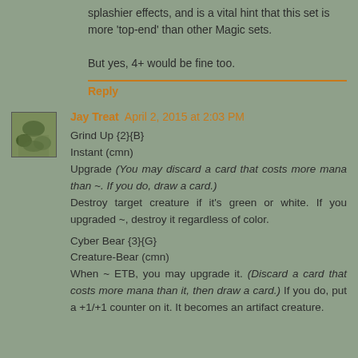splashier effects, and is a vital hint that this set is more 'top-end' than other Magic sets.

But yes, 4+ would be fine too.
Reply
Jay Treat April 2, 2015 at 2:03 PM
Grind Up {2}{B}
Instant (cmn)
Upgrade (You may discard a card that costs more mana than ~. If you do, draw a card.)
Destroy target creature if it's green or white. If you upgraded ~, destroy it regardless of color.

Cyber Bear {3}{G}
Creature-Bear (cmn)
When ~ ETB, you may upgrade it. (Discard a card that costs more mana than it, then draw a card.) If you do, put a +1/+1 counter on it. It becomes an artifact creature.